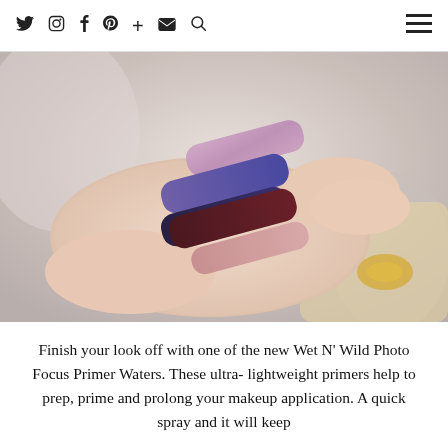Social media icons: twitter, instagram, facebook, pinterest, plus, email, search, hamburger menu
[Figure (photo): Close-up photo of a hand with four lipstick swatches: a shimmery mauve/pink, a deep purple, a dark navy/indigo, and a deep burgundy/brown, plus a lighter rosy pink swatch partially visible. A gold accessory is blurred in the background.]
Finish your look off with one of the new Wet N’ Wild Photo Focus Primer Waters. These ultra-lightweight primers help to prep, prime and prolong your makeup application. A quick spray and it will keep your skin from creasing and looking flawless.